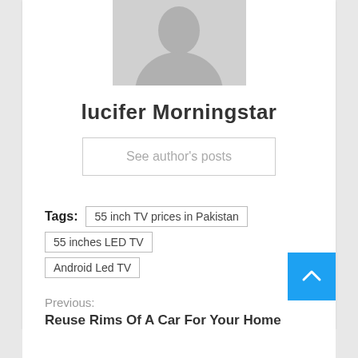[Figure (photo): Gray placeholder avatar image of a person silhouette]
lucifer Morningstar
See author's posts
Tags: 55 inch TV prices in Pakistan | 55 inches LED TV | Android Led TV
Previous: Reuse Rims Of A Car For Your Home Decor
Next: Popular Men's Perfumes